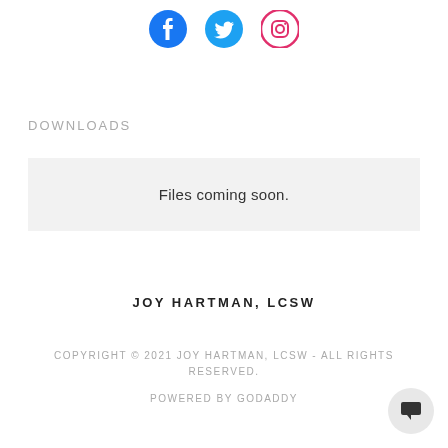[Figure (illustration): Three social media icons: Facebook (blue circle with f), Twitter (blue bird), Instagram (pink/red camera outline)]
DOWNLOADS
Files coming soon.
JOY HARTMAN, LCSW
COPYRIGHT © 2021 JOY HARTMAN, LCSW - ALL RIGHTS RESERVED.
POWERED BY GODADDY